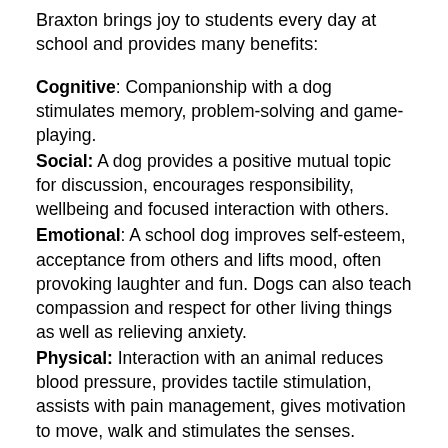Braxton brings joy to students every day at school and provides many benefits:
Cognitive: Companionship with a dog stimulates memory, problem-solving and game- playing.
Social: A dog provides a positive mutual topic for discussion, encourages responsibility, wellbeing and focused interaction with others.
Emotional: A school dog improves self-esteem, acceptance from others and lifts mood, often provoking laughter and fun. Dogs can also teach compassion and respect for other living things as well as relieving anxiety.
Physical: Interaction with an animal reduces blood pressure, provides tactile stimulation, assists with pain management, gives motivation to move, walk and stimulates the senses.